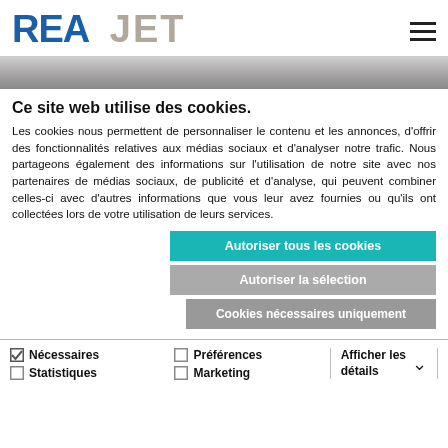REA JET
Ce site web utilise des cookies.
Les cookies nous permettent de personnaliser le contenu et les annonces, d'offrir des fonctionnalités relatives aux médias sociaux et d'analyser notre trafic. Nous partageons également des informations sur l'utilisation de notre site avec nos partenaires de médias sociaux, de publicité et d'analyse, qui peuvent combiner celles-ci avec d'autres informations que vous leur avez fournies ou qu'ils ont collectées lors de votre utilisation de leurs services.
Autoriser tous les cookies
Autoriser la sélection
Cookies nécessaires uniquement
Nécessaires  Préférences  Afficher les détails  Statistiques  Marketing